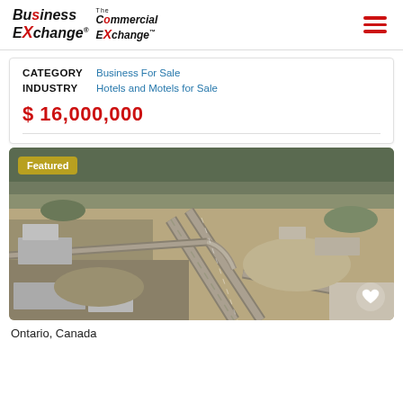Business Exchange The Commercial Exchange
| Field | Value |
| --- | --- |
| CATEGORY | Business For Sale |
| INDUSTRY | Hotels and Motels for Sale |
$ 16,000,000
[Figure (photo): Aerial photograph of a highway interchange and surrounding land in Ontario, Canada. The image shows roads, open land parcels, and a suburban/industrial area in the background. A 'Featured' badge is overlaid on the top left.]
Ontario, Canada